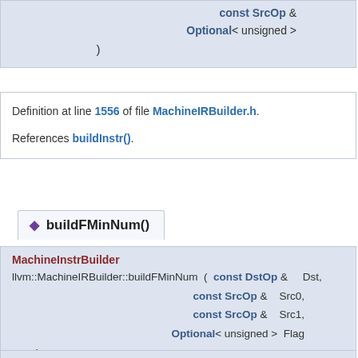const SrcOp &
Optional< unsigned >
)
Definition at line 1556 of file MachineIRBuilder.h.
References buildInstr().
◆ buildFMinNum()
MachineInstrBuilder
llvm::MachineIRBuilder::buildFMinNum ( const DstOp & Dst,
const SrcOp & Src0,
const SrcOp & Src1,
Optional< unsigned > Flags
)